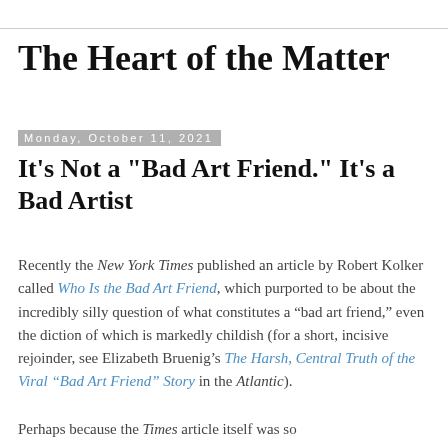The Heart of the Matter
Monday, October 11, 2021
It's Not a "Bad Art Friend." It's a Bad Artist
Recently the New York Times published an article by Robert Kolker called Who Is the Bad Art Friend, which purported to be about the incredibly silly question of what constitutes a “bad art friend,” even the diction of which is markedly childish (for a short, incisive rejoinder, see Elizabeth Bruenig’s The Harsh, Central Truth of the Viral “Bad Art Friend” Story in the Atlantic).
Perhaps because the Times article itself was so